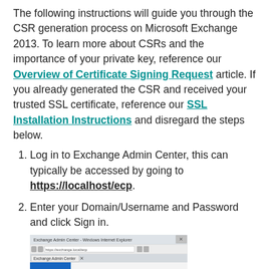The following instructions will guide you through the CSR generation process on Microsoft Exchange 2013. To learn more about CSRs and the importance of your private key, reference our Overview of Certificate Signing Request article. If you already generated the CSR and received your trusted SSL certificate, reference our SSL Installation Instructions and disregard the steps below.
1. Log in to Exchange Admin Center, this can typically be accessed by going to https://localhost/ecp.
2. Enter your Domain/Username and Password and click Sign in.
[Figure (screenshot): Screenshot of Exchange Admin Center login page in Windows Internet Explorer browser window, showing the Exchange Admin Center title and a blue panel on the left.]